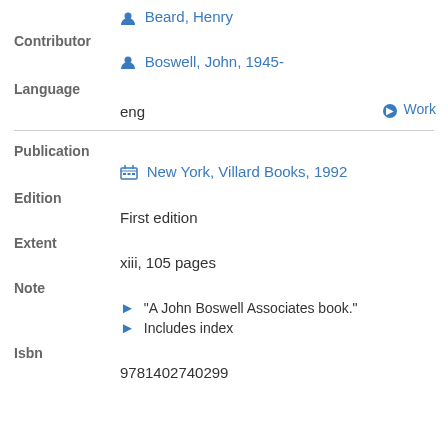Beard, Henry
Contributor
Boswell, John, 1945-
Language
eng
Work
Publication
New York, Villard Books, 1992
Edition
First edition
Extent
xiii, 105 pages
Note
"A John Boswell Associates book."
Includes index
Isbn
9781402740299